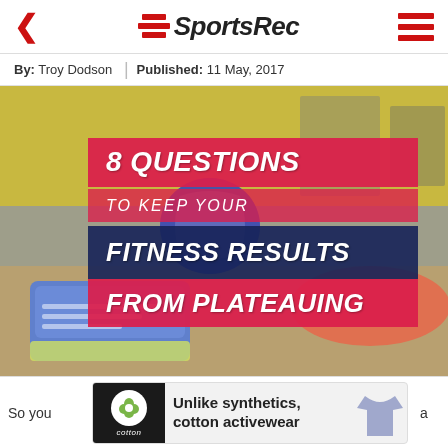SportsRec
By: Troy Dodson | Published: 11 May, 2017
[Figure (photo): Woman in gym doing floor exercise wearing pink top and blue sneakers; overlay text reads '8 QUESTIONS TO KEEP YOUR FITNESS RESULTS FROM PLATEAUING']
So you... a